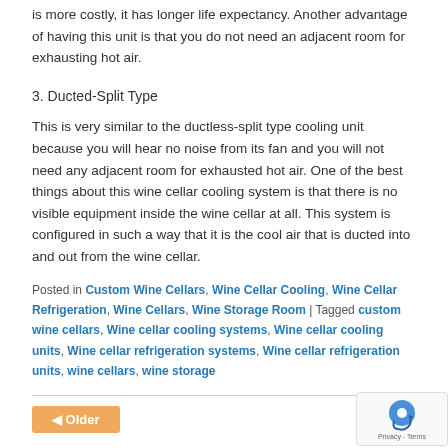is more costly, it has longer life expectancy. Another advantage of having this unit is that you do not need an adjacent room for exhausting hot air.
3. Ducted-Split Type
This is very similar to the ductless-split type cooling unit because you will hear no noise from its fan and you will not need any adjacent room for exhausted hot air. One of the best things about this wine cellar cooling system is that there is no visible equipment inside the wine cellar at all. This system is configured in such a way that it is the cool air that is ducted into and out from the wine cellar.
Posted in Custom Wine Cellars, Wine Cellar Cooling, Wine Cellar Refrigeration, Wine Cellars, Wine Storage Room | Tagged custom wine cellars, Wine cellar cooling systems, Wine cellar cooling units, Wine cellar refrigeration systems, Wine cellar refrigeration units, wine cellars, wine storage
Older